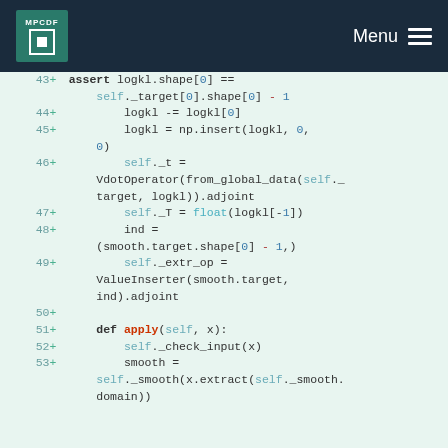MPCDF  Menu
[Figure (screenshot): Code diff showing Python lines 43-53 with additions marked by + symbols on a light green background. Code includes assert statements, numpy operations, VdotOperator, float conversions, and method definitions.]